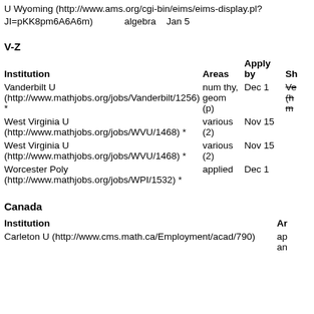U Wyoming (http://www.ams.org/cgi-bin/eims/eims-display.pl?JI=pKK8pm6A6A6m)    algebra    Jan 5
V-Z
| Institution | Areas | Apply by | Sh |
| --- | --- | --- | --- |
| Vanderbilt U (http://www.mathjobs.org/jobs/Vanderbilt/1256) * | num thy, geom (p) | Dec 1 | Ve (h... m... |
| West Virginia U (http://www.mathjobs.org/jobs/WVU/1468) * | various (2) | Nov 15 |  |
| West Virginia U (http://www.mathjobs.org/jobs/WVU/1468) * | various (2) | Nov 15 |  |
| Worcester Poly (http://www.mathjobs.org/jobs/WPI/1532) * | applied | Dec 1 |  |
Canada
| Institution | Ar |
| --- | --- |
| Carleton U (http://www.cms.math.ca/Employment/acad/790) | ap an |